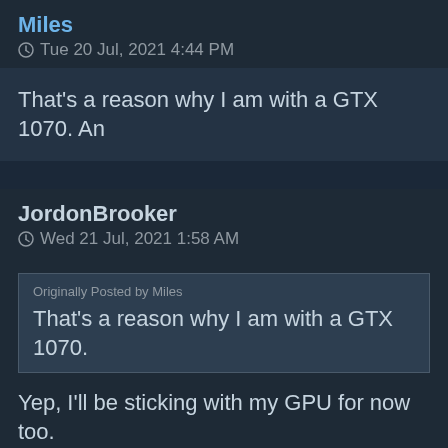Miles
Tue 20 Jul, 2021 4:44 PM
That's a reason why I am with a GTX 1070. An
JordonBrooker
Wed 21 Jul, 2021 1:58 AM
Originally Posted by Miles
That's a reason why I am with a GTX 1070.
Yep, I'll be sticking with my GPU for now too.